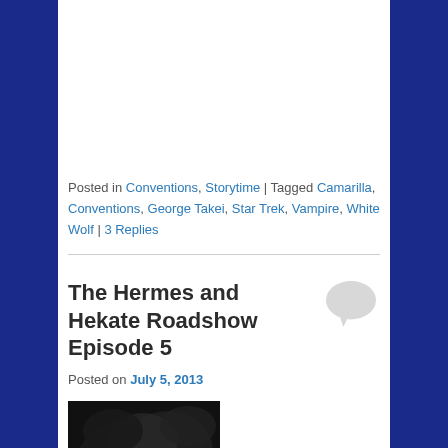Posted in Conventions, Storytime | Tagged Camarilla, Conventions, George Takei, Star Trek, Vampire, White Wolf | 3 Replies
The Hermes and Hekate Roadshow Episode 5
Posted on July 5, 2013
[Figure (photo): Dark leather image with hhroaadshow.libsyn.com watermark]